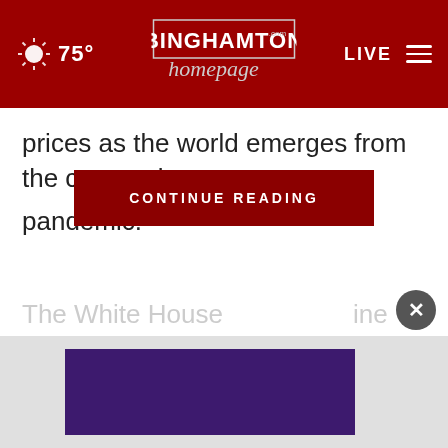75° — Binghamton Homepage — LIVE
prices as the world emerges from the coronavirus pandemic.
CONTINUE READING
The White House ... Biden
[Figure (screenshot): Purple advertisement banner at bottom of page with close button (×)]